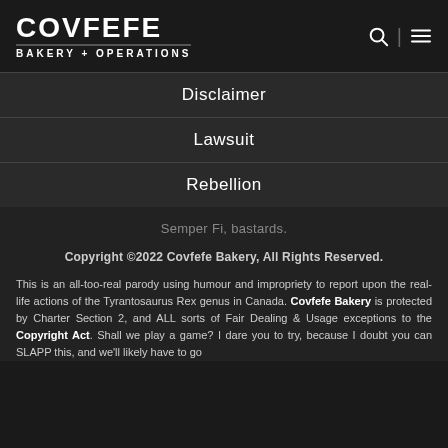[Figure (logo): Covfefe Bakery + Operations logo with large bold white text on dark background, with search and menu icons top right]
Disclaimer
Lawsuit
Rebellion
Semper Fi, bastards.
Copyright ©2022 Covfefe Bakery, All Rights Reserved.
This is an all-too-real parody using humour and impropriety to report upon the real-life actions of the Tyrantosaurus Rex genus in Canada. Covfefe Bakery is protected by Charter Section 2, and ALL sorts of Fair Dealing & Usage exceptions to the Copyright Act. Shall we play a game? I dare you to try, because I doubt you can SLAPP this, and we'll likely have to go